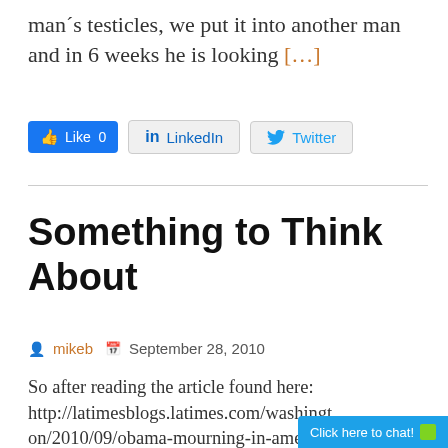man´s testicles, we put it into another man and in 6 weeks he is looking […]
[Figure (screenshot): Social sharing buttons: Facebook Like (0), LinkedIn, Twitter]
Something to Think About
mikeb   September 28, 2010
So after reading the article found here: http://latimesblogs.latimes.com/washington/2010/09/obama-mourning-in-america-